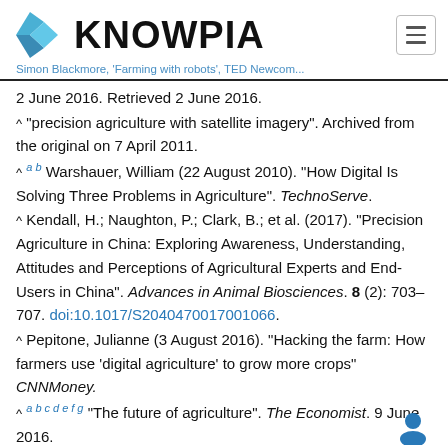KNOWPIA
Simon Blackmore, 'Farming with robots', TED Newcom...
2 June 2016. Retrieved 2 June 2016.
^ "precision agriculture with satellite imagery". Archived from the original on 7 April 2011.
^ a b Warshauer, William (22 August 2010). "How Digital Is Solving Three Problems in Agriculture". TechnoServe.
^ Kendall, H.; Naughton, P.; Clark, B.; et al. (2017). "Precision Agriculture in China: Exploring Awareness, Understanding, Attitudes and Perceptions of Agricultural Experts and End-Users in China". Advances in Animal Biosciences. 8 (2): 703–707. doi:10.1017/S2040470017001066.
^ Pepitone, Julianne (3 August 2016). "Hacking the farm: How farmers use 'digital agriculture' to grow more crops" CNNMoney.
^ a b c d e f g "The future of agriculture". The Economist. 9 June 2016.